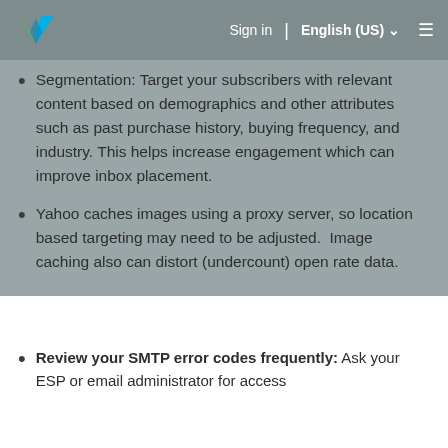Sign in | English (US) ☰
Segmentation: Target your subscribers with relevant content based on demographics and other attributes such as past purchase history, buying frequency, and industry. This helps increase engagement which can improve inbox placement.
Yahoo caches images using a proxy server, so location based targeting may need to be adjusted.  Image caching also can distort (undercount) open rate data.
Review your SMTP error codes frequently: Ask your ESP or email administrator for access